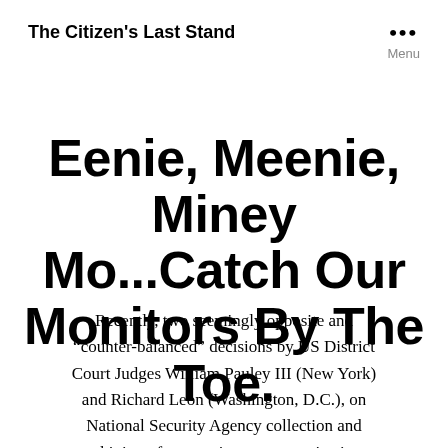The Citizen's Last Stand
Eenie, Meenie, Miney Mo...Catch Our Monitors By The Toe.
Recently, two seemingly opposite and “counter-balanced” decisions by US District Court Judges William Pauley III (New York) and Richard Leon (Washington, D.C.), on National Security Agency collection and archiving of mass private communications